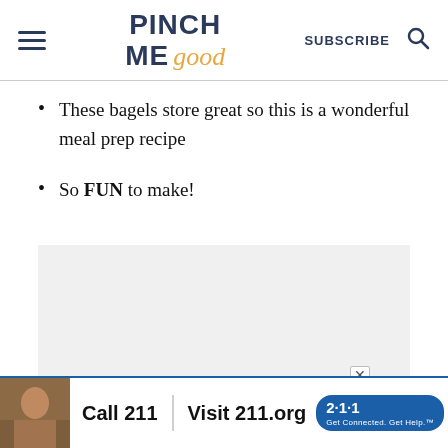PINCH ME good — SUBSCRIBE
These bagels store great so this is a wonderful meal prep recipe
So FUN to make!
[Figure (other): Gray advertisement placeholder box]
[Figure (other): Banner advertisement: Call 211 | Visit 211.org with 2-1-1 badge logo and woman on phone photo]